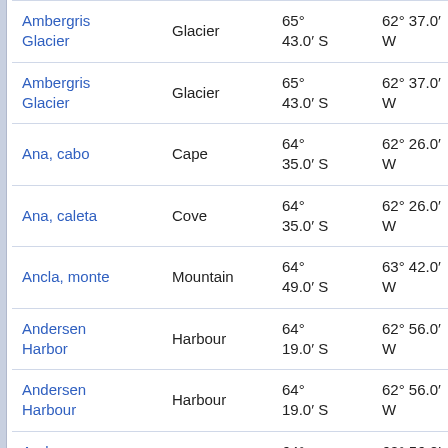| Name | Type | Latitude | Longitude | Extra |
| --- | --- | --- | --- | --- |
| Ambergris Glacier | Glacier | 65° 43.0′ S | 62° 37.0′ W | 91. at 1 |
| Ambergris Glacier | Glacier | 65° 43.0′ S | 62° 37.0′ W | 91. at 1 |
| Ana, cabo | Cape | 64° 35.0′ S | 62° 26.0′ W | 40. at 3 |
| Ana, caleta | Cove | 64° 35.0′ S | 62° 26.0′ W | 40. at 3 |
| Ancla, monte | Mountain | 64° 49.0′ S | 63° 42.0′ W | 40. at 2 |
| Andersen Harbor | Harbour | 64° 19.0′ S | 62° 56.0′ W | 64. at 3 |
| Andersen Harbour | Harbour | 64° 19.0′ S | 62° 56.0′ W | 64. at 3 |
| Andersen, puerto | Harbour | 64° 19.0′ S | 62° 56.0′ W | 64. at 3 |